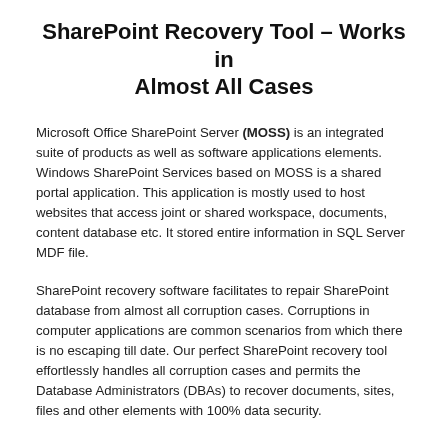SharePoint Recovery Tool – Works in Almost All Cases
Microsoft Office SharePoint Server (MOSS) is an integrated suite of products as well as software applications elements. Windows SharePoint Services based on MOSS is a shared portal application. This application is mostly used to host websites that access joint or shared workspace, documents, content database etc. It stored entire information in SQL Server MDF file.
SharePoint recovery software facilitates to repair SharePoint database from almost all corruption cases. Corruptions in computer applications are common scenarios from which there is no escaping till date. Our perfect SharePoint recovery tool effortlessly handles all corruption cases and permits the Database Administrators (DBAs) to recover documents, sites, files and other elements with 100% data security.